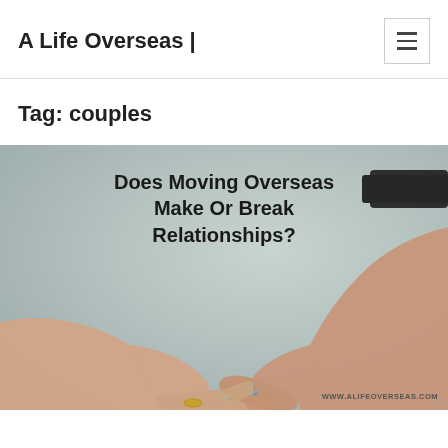A Life Overseas |
Tag: couples
[Figure (photo): Two people holding hands with their index fingers linked, both showing anchor tattoos on their fingers. One person wears a gold ring. The other wears a black watch. Text overlay reads: Does Moving Overseas Make Or Break Relationships? Watermark: WWW.ALIFEOVERSEAS.COM]